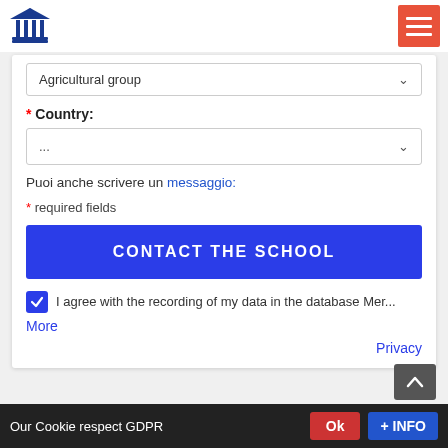[Figure (logo): Blue institution/government building logo with columns and triangular roof]
[Figure (other): Red hamburger menu button with three white horizontal lines]
Agricultural group (dropdown)
* Country:
... (dropdown placeholder)
Puoi anche scrivere un messaggio:
* required fields
CONTACT THE SCHOOL
I agree with the recording of my data in the database Mer...
More
Privacy
Our Cookie respect GDPR
Ok
+ INFO